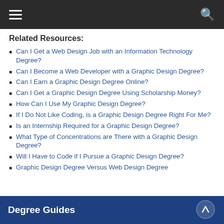Navigation bar with hamburger menu and search icon
Related Resources:
Can I Get a Web Design Job with an Information Technology Degree?
Can I Become a Web Developer with a Graphic Design Degree?
Can I Earn a Graphic Design Degree Online?
Can I Get a Graphic Design Degree Using Scholarship Money?
How Can I Use My Graphic Design Degree?
If I Do Not Like Coding, is a Graphic Design Degree Right For Me?
Is an Internship Required for a Graphic Design Degree?
What Type of Concentrations are There with a Graphic Design Degree?
Will I Have to Code if I Pursue a Graphic Design Degree?
Graphic Design Degree Versus Web Design Degree
Degree Guides